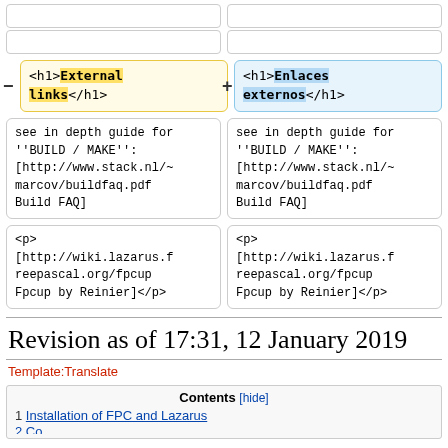[Figure (screenshot): Diff view showing two columns: left with 'External links' h1 tag highlighted in yellow, right with 'Enlaces externos' h1 tag highlighted in blue, with minus and plus signs indicating diff.]
see in depth guide for ''BUILD / MAKE'': [http://www.stack.nl/~marcov/buildfaq.pdf Build FAQ]
see in depth guide for ''BUILD / MAKE'': [http://www.stack.nl/~marcov/buildfaq.pdf Build FAQ]
<p>
[http://wiki.lazarus.freepascal.org/fpcup
Fpcup by Reinier]</p>
<p>
[http://wiki.lazarus.freepascal.org/fpcup
Fpcup by Reinier]</p>
Revision as of 17:31, 12 January 2019
Template:Translate
| Contents [hide] |
| --- |
| 1 Installation of FPC and Lazarus |